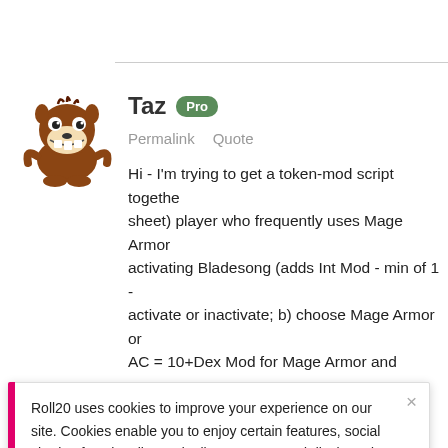[Figure (illustration): Cartoon avatar of Taz (Tasmanian Devil) character]
Taz Pro
Permalink  Quote
Hi - I'm trying to get a token-mod script together sheet) player who frequently uses Mage Armor activating Bladesong (adds Int Mod - min of 1 - activate or inactivate; b) choose Mage Armor or AC = 10+Dex Mod for Mage Armor and reduces appropriate bonuses. Can anyone help me? Sc
Roll20 uses cookies to improve your experience on our site. Cookies enable you to enjoy certain features, social sharing functionality, and tailor message and display ads to your interests on our site and others. They also help us understand how our site is being used. By continuing to use our site, you consent to our use of cookies. Update your cookie preferences here.
Hi - I'm trying to get a token-mod script toge Roll20 5E sheet) player who frequently uses